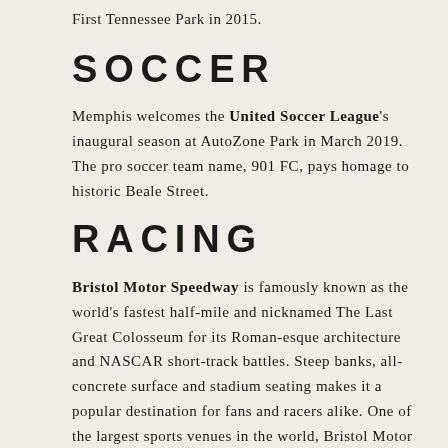First Tennessee Park in 2015.
SOCCER
Memphis welcomes the United Soccer League's inaugural season at AutoZone Park in March 2019. The pro soccer team name, 901 FC, pays homage to historic Beale Street.
RACING
Bristol Motor Speedway is famously known as the world's fastest half-mile and nicknamed The Last Great Colosseum for its Roman-esque architecture and NASCAR short-track battles. Steep banks, all-concrete surface and stadium seating makes it a popular destination for fans and racers alike. One of the largest sports venues in the world, Bristol Motor Speedway hosts the NHRA Thunder Valley Nationals, the Food City race, and the Battle at Bristol...